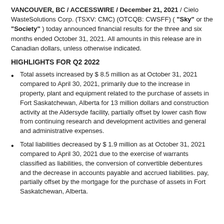VANCOUVER, BC / ACCESSWIRE / December 21, 2021 / Cielo WasteSolutions Corp. (TSXV: CMC) (OTCQB: CWSFF) ( "Sky" or the "Society" ) today announced financial results for the three and six months ended October 31, 2021. All amounts in this release are in Canadian dollars, unless otherwise indicated.
HIGHLIGHTS FOR Q2 2022
Total assets increased by $ 8.5 million as at October 31, 2021 compared to April 30, 2021, primarily due to the increase in property, plant and equipment related to the purchase of assets in Fort Saskatchewan, Alberta for 13 million dollars and construction activity at the Aldersyde facility, partially offset by lower cash flow from continuing research and development activities and general and administrative expenses.
Total liabilities decreased by $ 1.9 million as at October 31, 2021 compared to April 30, 2021 due to the exercise of warrants classified as liabilities, the conversion of convertible debentures and the decrease in accounts payable and accrued liabilities. pay, partially offset by the mortgage for the purchase of assets in Fort Saskatchewan, Alberta.